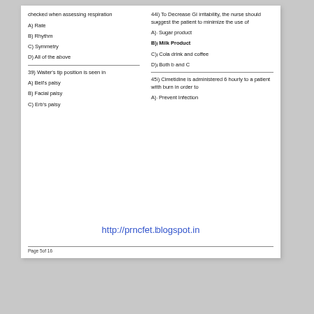checked when assessing respiration
A) Rate
B) Rhythm
C) Symmetry
D) All of the above
39) Waiter's tip position is seen in
A) Bell's palsy
B) Facial palsy
C) Erb's palsy
44) To Decrease GI irritability, the nurse should suggest the patient to minimize the use of
A) Sugar product
B) Milk Product
C) Cola drink and coffee
D) Both b and C
45) Cimetidine is administered 6 hourly to a patient with burn in order to
A) Prevent Infection
http://prncfet.blogspot.in
Page 5of 16